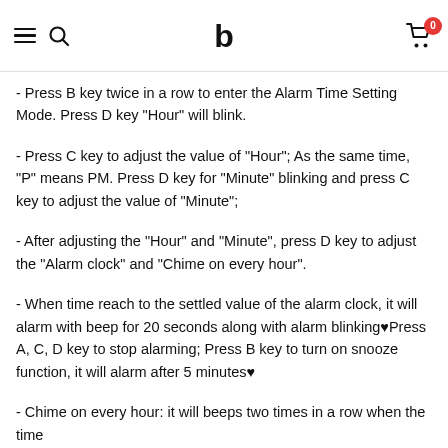Navigation header with hamburger menu, search icon, logo, and cart with 0 items
- Press B key twice in a row to enter the Alarm Time Setting Mode. Press D key "Hour" will blink.
- Press C key to adjust the value of "Hour"; As the same time, "P" means PM. Press D key for "Minute" blinking and press C key to adjust the value of "Minute";
- After adjusting the "Hour" and "Minute", press D key to adjust the "Alarm clock" and "Chime on every hour".
- When time reach to the settled value of the alarm clock, it will alarm with beep for 20 seconds along with alarm blinking♥Press A, C, D key to stop alarming; Press B key to turn on snooze function, it will alarm after 5 minutes♥
- Chime on every hour: it will beeps two times in a row when the time